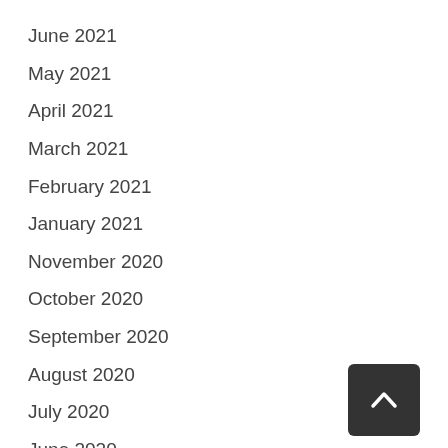June 2021
May 2021
April 2021
March 2021
February 2021
January 2021
November 2020
October 2020
September 2020
August 2020
July 2020
June 2020
[Figure (other): Back to top button: dark rounded square with upward chevron arrow]